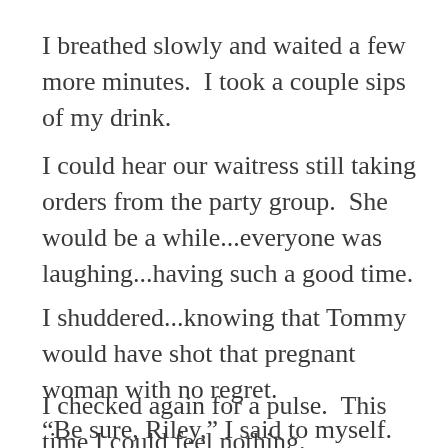I breathed slowly and waited a few more minutes.  I took a couple sips of my drink.
I could hear our waitress still taking orders from the party group.  She would be a while...everyone was laughing...having such a good time.
I shuddered...knowing that Tommy would have shot that pregnant woman with no regret.
I checked again for a pulse.  This time I could feel nothing.
“Be sure, Riley,” I said to myself.  “Be very sure.”